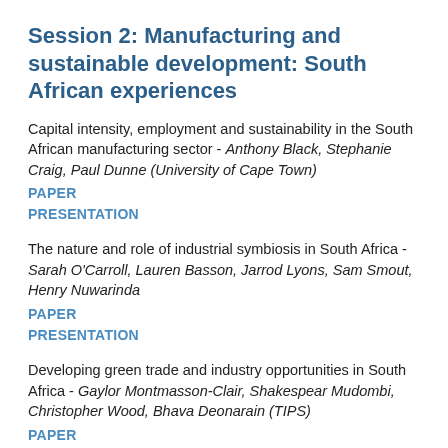Session 2: Manufacturing and sustainable development: South African experiences
Capital intensity, employment and sustainability in the South African manufacturing sector - Anthony Black, Stephanie Craig, Paul Dunne (University of Cape Town)
PAPER
PRESENTATION
The nature and role of industrial symbiosis in South Africa - Sarah O'Carroll, Lauren Basson, Jarrod Lyons, Sam Smout, Henry Nuwarinda
PAPER
PRESENTATION
Developing green trade and industry opportunities in South Africa - Gaylor Montmasson-Clair, Shakespear Mudombi, Christopher Wood, Bhava Deonarain (TIPS)
PAPER